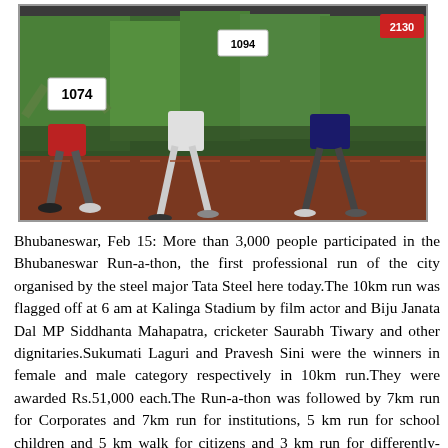[Figure (photo): Runners in green shirts with race bibs (numbers 1074, 1094, 2130) running on a track at the Bhubaneswar Run-a-thon event.]
Bhubaneswar, Feb 15: More than 3,000 people participated in the Bhubaneswar Run-a-thon, the first professional run of the city organised by the steel major Tata Steel here today.The 10km run was flagged off at 6 am at Kalinga Stadium by film actor and Biju Janata Dal MP Siddhanta Mahapatra, cricketer Saurabh Tiwary and other dignitaries.Sukumati Laguri and Pravesh Sini were the winners in female and male category respectively in 10km run.They were awarded Rs.51,000 each.The Run-a-thon was followed by 7km run for Corporates and 7km run for institutions, 5 km run for school children and 5 km walk for citizens and 3 km run for differently-abled people.The list of the winners is attached here.The run, starting from Kalinga Stadium went 5 km towards Chandrasekharpur,